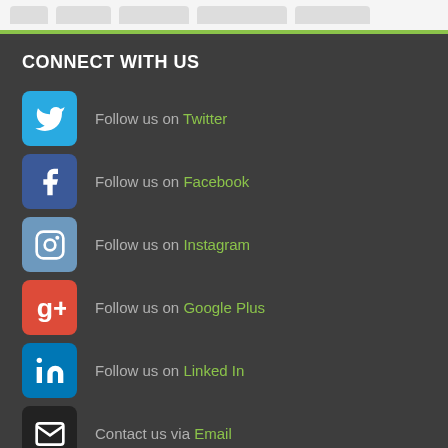CONNECT WITH US
Follow us on Twitter
Follow us on Facebook
Follow us on Instagram
Follow us on Google Plus
Follow us on Linked In
Contact us via Email
TAGS